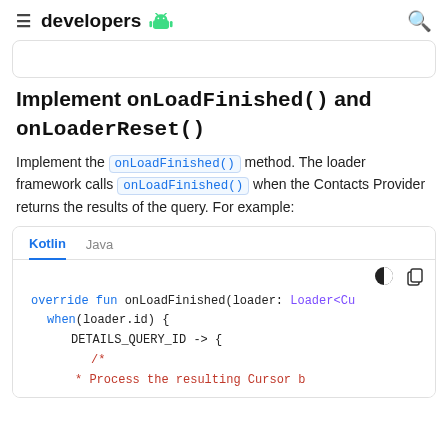developers
(partial code block at top, truncated)
Implement onLoadFinished() and onLoaderReset()
Implement the onLoadFinished() method. The loader framework calls onLoadFinished() when the Contacts Provider returns the results of the query. For example:
Kotlin | Java tabs, then code:
override fun onLoadFinished(loader: Loader<Cu
    when(loader.id) {
        DETAILS_QUERY_ID -> {
            /*
             * Process the resulting Cursor b